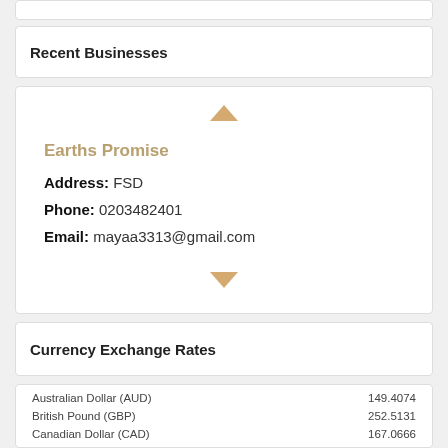Recent Businesses
Earths Promise
Address: FSD
Phone: 0203482401
Email: mayaa3313@gmail.com
Currency Exchange Rates
| Currency | Rate |
| --- | --- |
| Australian Dollar (AUD) | 149.4074 |
| British Pound (GBP) | 252.5131 |
| Canadian Dollar (CAD) | 167.0666 |